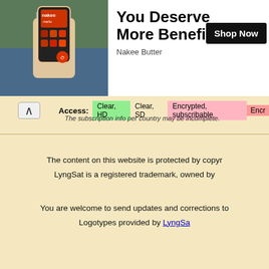[Figure (photo): Advertisement banner for Nakee Butter showing a hand holding a smartphone with the Nakee Butter app/product displayed, with a nature waterfall background]
You Deserve More Benefits
Nakee Butter
Shop Now
Access: Clear, HD | Clear, SD | Encrypted, subscribable | Encr...
The subscription info per country may be incomplete.
The content on this website is protected by copyr... LyngSat is a registered trademark, owned by...
You are welcome to send updates and corrections to... Logotypes provided by LyngSat